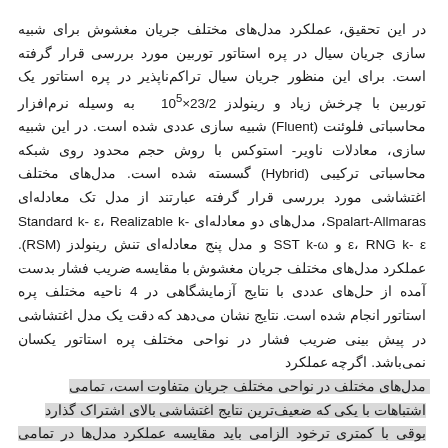در این تحقیق، عملکرد مدل‌های مختلف جریان مغشوش برای شبیه سازی جریان سیال در پره استاتور توربین مورد بررسی قرار گرفته است. برای این منظور جریان سیال تراکم‌ناپذیر در پره استاتور یک توربین با چرخش زیاد و رینولدز 23/2×10⁵ به وسیله نرم‌افزار محاسباتی فلوئنت (Fluent) شبیه سازی عددی شده است. در این شبیه سازی، معادلات ناویر- استوکس با روش حجم محدود روی شبکه محاسباتی ترکیبی (Hybrid) گسسته شده است. مدل‌های مختلف اغتشاشی مورد بررسی قرار گرفته عبارتند از مدل تک معادله‌ای Spalart-Allmaras، مدل‌های دو معادله‌ای Standard k- ε، Realizable k- ε، RNG k- ε و SST k-ω و مدل پنج معادله‌ای تنش رینولدز (RSM). عملکرد مدل‌های مختلف جریان مغشوش با مقایسه ضریب فشار بدست آمده از حل‌های عددی با نتایج آزمایشگاهی در 4 ناحیه مختلف پره استاتور انجام شده است. نتایج نشان می‌دهد که دقت یک مدل اغتشاشی در پیش بینی ضریب فشار در نواحی مختلف پره استاتور یکسان نمی‌باشد. اگرچه عملکرد مدل‌های مختلف در نواحی مختلف جریان متفاوت است، تمامی اشتباهات با یکی از ضعیف‌ترین نتایج اغتشاشی بالای سرعت از بوقی با کمتری ترخود الزامی باید مقایسه عملکرد مدل‌ها در تمامی نواحی مختلف پره استاتور، بهترین توافق بین جواب‌های شبیه سازی و نتایج آزمایشگاهی درون مدل اغتشاشی SST و RSM مشاهده شد.
کلیدواژه‌ها